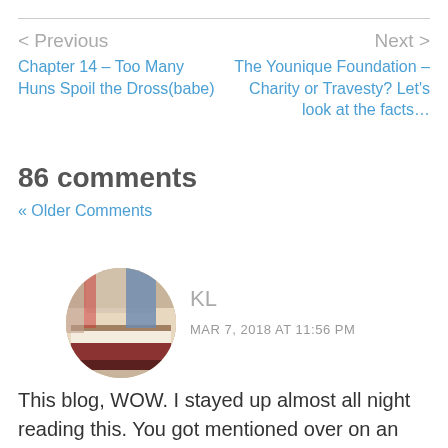< Previous
Chapter 14 – Too Many Huns Spoil the Dross(babe)
Next >
The Younique Foundation – Charity or Travesty? Let's look at the facts…
86 comments
« Older Comments
[Figure (photo): Circular avatar image showing stacked books or notebooks on a table]
KL
MAR 7, 2018 AT 11:56 PM
This blog, WOW. I stayed up almost all night reading this. You got mentioned over on an Essential baby